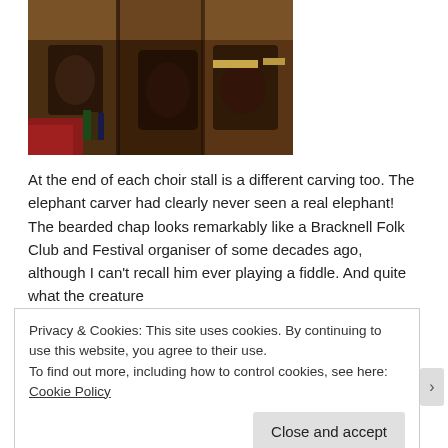[Figure (photo): Close-up photograph of ornately carved dark wooden choir stalls with decorative carved ends featuring human and animal figures. Red carpet visible at bottom left, books on shelves visible in background.]
At the end of each choir stall is a different carving too. The elephant carver had clearly never seen a real elephant! The bearded chap looks remarkably like a Bracknell Folk Club and Festival organiser of some decades ago, although I can't recall him ever playing a fiddle. And quite what the creature
Privacy & Cookies: This site uses cookies. By continuing to use this website, you agree to their use.
To find out more, including how to control cookies, see here: Cookie Policy
Close and accept